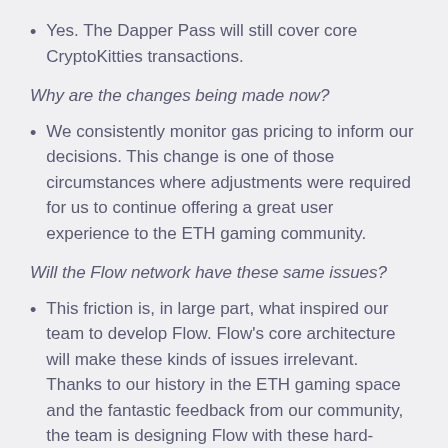Yes. The Dapper Pass will still cover core CryptoKitties transactions.
Why are the changes being made now?
We consistently monitor gas pricing to inform our decisions. This change is one of those circumstances where adjustments were required for us to continue offering a great user experience to the ETH gaming community.
Will the Flow network have these same issues?
This friction is, in large part, what inspired our team to develop Flow. Flow's core architecture will make these kinds of issues irrelevant. Thanks to our history in the ETH gaming space and the fantastic feedback from our community, the team is designing Flow with these hard-fought learnings in mind. Keep up to date with